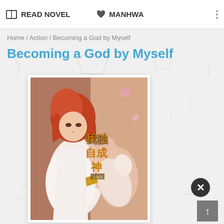READ NOVEL   MANHWA
Home / Action / Becoming a God by Myself
Becoming a God by Myself
[Figure (illustration): Manga/manhwa cover art showing an anime-style female character with red hair in white clothing, with Chinese characters '我独自成神' overlaid on the cover image]